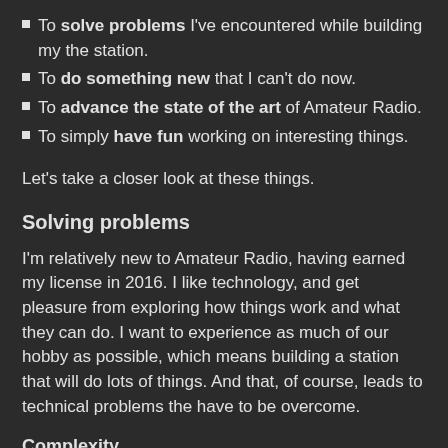To solve problems I've encountered while building my the station.
To do something new that I can't do now.
To advance the state of the art of Amateur Radio.
To simply have fun working on interesting things.
Let's take a closer look at these things.
Solving problems
I'm relatively new to Amateur Radio, having earned my license in 2016. I like technology, and get pleasure from exploring how things work and what they can do. I want to experience as much of our hobby as possible, which means building a station that will do lots of things. And that, of course, leads to technical problems the have to be overcome.
Complexity